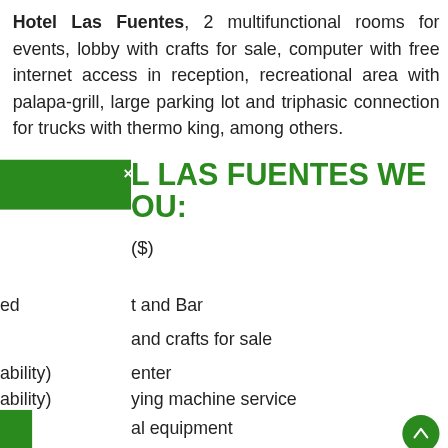Hotel Las Fuentes, 2 multifunctional rooms for events, lobby with crafts for sale, computer with free internet access in reception, recreational area with palapa-grill, large parking lot and triphasic connection for trucks with thermo king, among others.
HOTEL LAS FUENTES WE OFFER YOU:
($)
Restaurant and Bar
Lobby and crafts for sale
Business center
Photocopying machine service
Audiovisual equipment
Computer rental